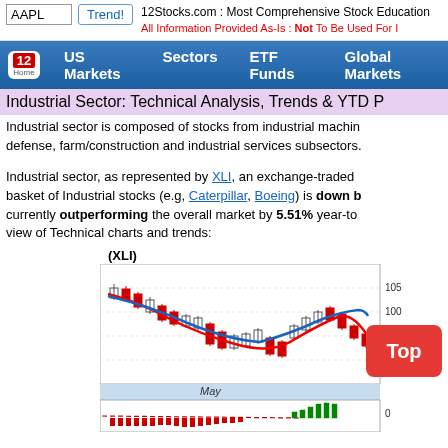AAPL | Trend! | 12Stocks.com : Most Comprehensive Stock Education | All Information Provided As-Is : Not To Be Used For Investment Advice
12 Home | US Markets | Sectors | ETF Funds | Global Markets
Industrial Sector: Technical Analysis, Trends & YTD P
Industrial sector is composed of stocks from industrial machinery, defense, farm/construction and industrial services subsectors.
Industrial sector, as represented by XLI, an exchange-traded basket of Industrial stocks (e.g, Caterpillar, Boeing) is down b... currently outperforming the overall market by 5.51% year-to... view of Technical charts and trends:
(XLI)
[Figure (continuous-plot): Candlestick chart for XLI showing price movement from approximately April to May with red and green candlesticks, a red trend curve, a blue moving average line, and a price label at 94. Price range approximately 85-105. Below is a momentum/MACD bar chart with red and green bars and a dashed red line, range around 0.]